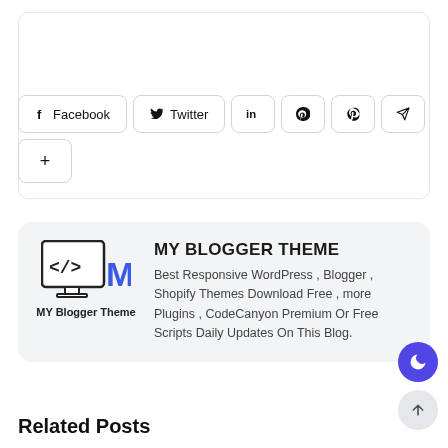[Figure (other): Social share buttons row: Facebook, Twitter, LinkedIn, Pinterest, Send, and a plus button]
[Figure (logo): MY Blogger Theme logo with a computer monitor icon showing </> and MBT text in blue, with tagline 'MY Blogger Theme']
MY BLOGGER THEME
Best Responsive WordPress , Blogger , Shopify Themes Download Free , more Plugins , CodeCanyon Premium Or Free Scripts Daily Updates On This Blog.
Related Posts